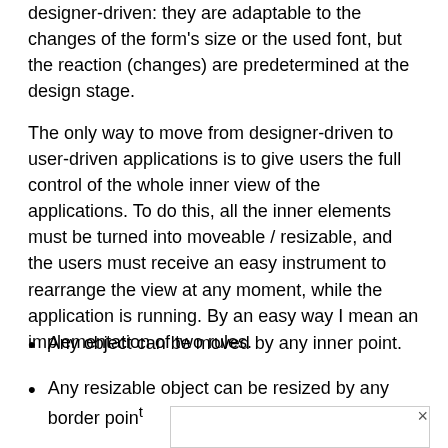designer-driven: they are adaptable to the changes of the form's size or the used font, but the reaction (changes) are predetermined at the design stage.
The only way to move from designer-driven to user-driven applications is to give users the full control of the whole inner view of the applications. To do this, all the inner elements must be turned into moveable / resizable, and the users must receive an easy instrument to rearrange the view at any moment, while the application is running. By an easy way I mean an implementation of two rules.
Any object can be moved by any inner point.
Any resizable object can be resized by any border point